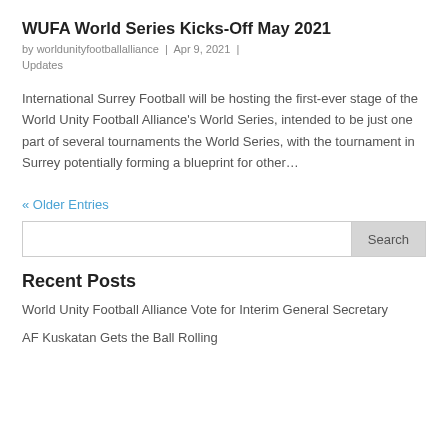WUFA World Series Kicks-Off May 2021
by worldunityfootballalliance | Apr 9, 2021 | Updates
International Surrey Football will be hosting the first-ever stage of the World Unity Football Alliance's World Series, intended to be just one part of several tournaments the World Series, with the tournament in Surrey potentially forming a blueprint for other...
« Older Entries
Search
Recent Posts
World Unity Football Alliance Vote for Interim General Secretary
AF Kuskatan Gets the Ball Rolling